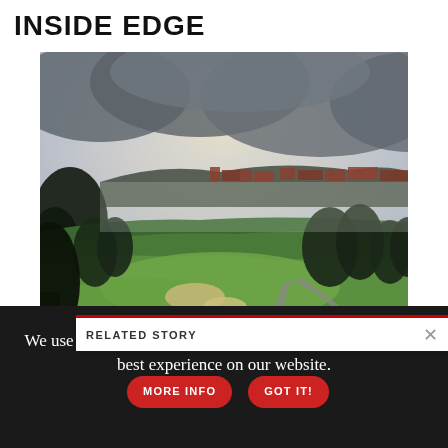INSIDE EDGE
[Figure (photo): Golf course landscape photo showing lush green fairways, trees, a winding path, and misty mountains with buildings in the background under an overcast sky.]
RELATED STORY
Hidden
We use cookies to analyze traffic and to ensure you get the best experience on our website.
MORE INFO
GOT IT!